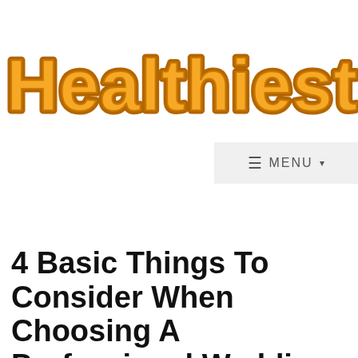[Figure (logo): Healthiest Life logo in large orange bold rounded font with dark brown outline]
≡ MENU ▾
4 Basic Things To Consider When Choosing A Professional Wedding Band